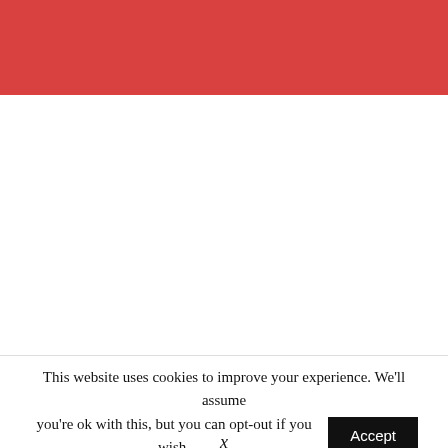[Figure (other): Red header banner at top of webpage]
This website uses cookies to improve your experience. We'll assume you're ok with this, but you can opt-out if you wish. Accept
x